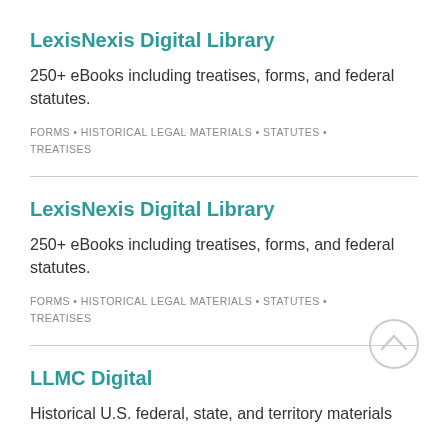LexisNexis Digital Library
250+ eBooks including treatises, forms, and federal statutes.
FORMS • HISTORICAL LEGAL MATERIALS • STATUTES • TREATISES
LexisNexis Digital Library
250+ eBooks including treatises, forms, and federal statutes.
FORMS • HISTORICAL LEGAL MATERIALS • STATUTES • TREATISES
LLMC Digital
Historical U.S. federal, state, and territory materials